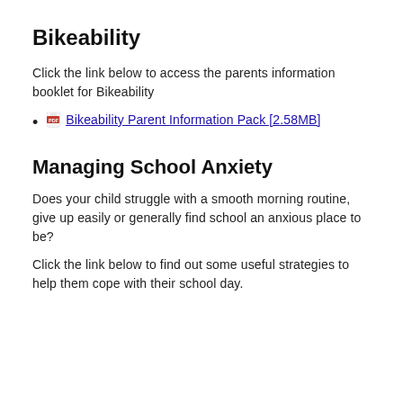Bikeability
Click the link below to access the parents information booklet for Bikeability
Bikeability Parent Information Pack [2.58MB]
Managing School Anxiety
Does your child struggle with a smooth morning routine, give up easily or generally find school an anxious place to be?
Click the link below to find out some useful strategies to help them cope with their school day.